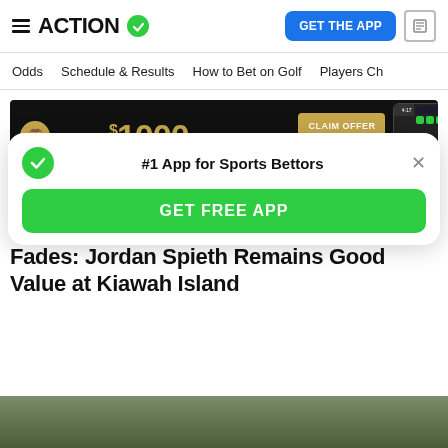ACTION
Odds | Schedule & Results | How to Bet on Golf | Players Ch
[Figure (other): BetMGM advertisement banner: $1000 IN RISK-FREE BETS with CLAIM OFFER button and app screenshot]
GOLFBET
PGA Championship Round 2 Buys and Fades: Jordan Spieth Remains Good Value at Kiawah Island
#1 App for Sports Bettors
GET FREE APP